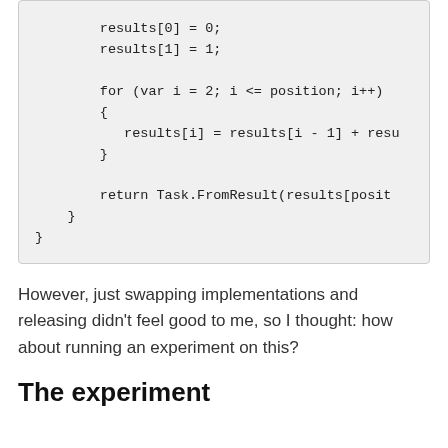[Figure (other): Code block showing JavaScript Fibonacci implementation: results[0]=0; results[1]=1; for loop; results[i] = results[i-1] + resu... return Task.FromResult(results[posit...]
However, just swapping implementations and releasing didn't feel good to me, so I thought: how about running an experiment on this?
The experiment